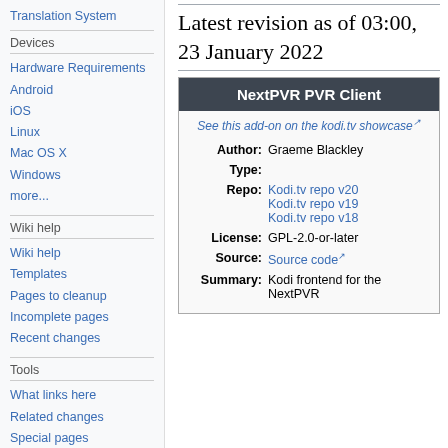Translation System
Devices
Hardware Requirements
Android
iOS
Linux
Mac OS X
Windows
more...
Wiki help
Wiki help
Templates
Pages to cleanup
Incomplete pages
Recent changes
Tools
What links here
Related changes
Special pages
Printable version
Latest revision as of 03:00, 23 January 2022
| Field | Value |
| --- | --- |
| See this add-on on the kodi.tv showcase |  |
| Author: | Graeme Blackley |
| Type: |  |
| Repo: | Kodi.tv repo v20
Kodi.tv repo v19
Kodi.tv repo v18 |
| License: | GPL-2.0-or-later |
| Source: | Source code |
| Summary: | Kodi frontend for the NextPVR |